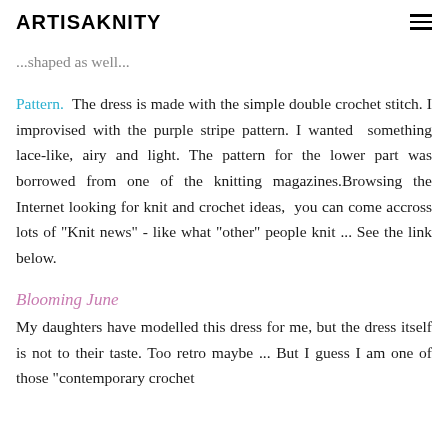ARTISAKNITY
...shaped as well...
Pattern. The dress is made with the simple double crochet stitch. I improvised with the purple stripe pattern. I wanted something lace-like, airy and light. The pattern for the lower part was borrowed from one of the knitting magazines.Browsing the Internet looking for knit and crochet ideas, you can come accross lots of "Knit news" - like what "other" people knit ... See the link below.
Blooming June
My daughters have modelled this dress for me, but the dress itself is not to their taste. Too retro maybe ... But I guess I am one of those "contemporary crochet